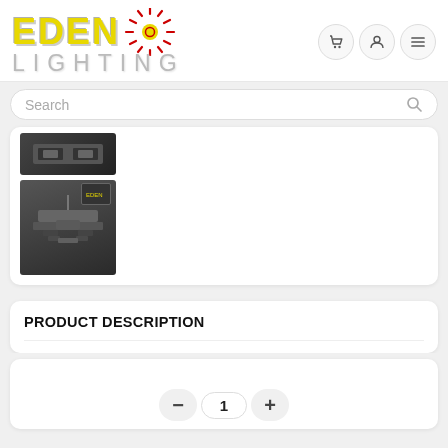[Figure (logo): Eden Lighting logo with yellow EDEN text, sun burst graphic in red and yellow, and grey LIGHTING text below]
Search
[Figure (photo): Two product thumbnail images of a chandelier/ceiling light fixture on dark background]
PRODUCT DESCRIPTION
1